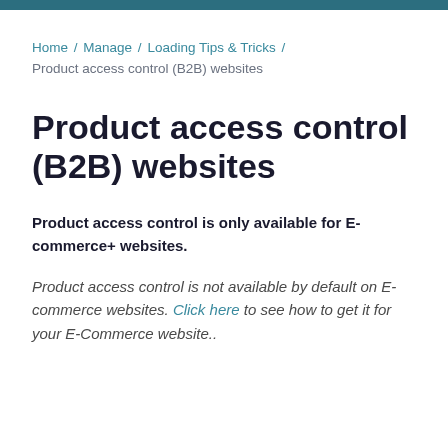Home / Manage / Loading Tips & Tricks / Product access control (B2B) websites
Product access control (B2B) websites
Product access control is only available for E-commerce+ websites.
Product access control is not available by default on E-commerce websites. Click here to see how to get it for your E-Commerce website..